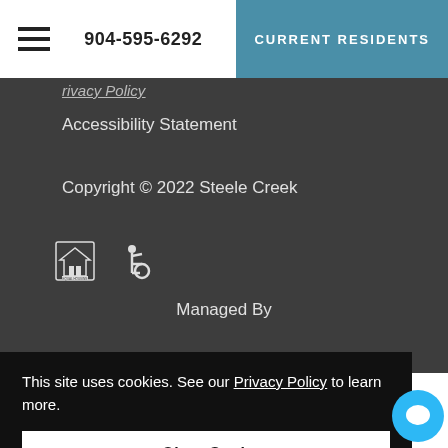904-595-6292 | CURRENT RESIDENTS
Accessibility Statement
Copyright © 2022 Steele Creek
[Figure (other): Equal Housing Opportunity and Accessibility icons]
Managed By
This site uses cookies. See our Privacy Policy to learn more.
Okay, Got it